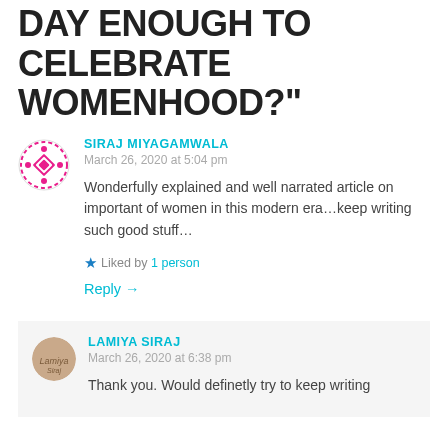DAY ENOUGH TO CELEBRATE WOMENHOOD?”
SIRAJ MIYAGAMWALA
March 26, 2020 at 5:04 pm
Wonderfully explained and well narrated article on important of women in this modern era…keep writing such good stuff…
Liked by 1 person
Reply →
LAMIYA SIRAJ
March 26, 2020 at 6:38 pm
Thank you. Would definetly try to keep writing